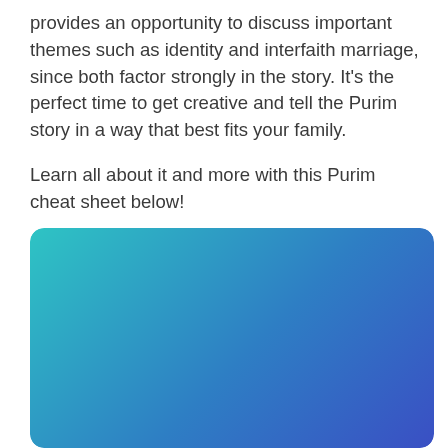provides an opportunity to discuss important themes such as identity and interfaith marriage, since both factor strongly in the story. It's the perfect time to get creative and tell the Purim story in a way that best fits your family.

Learn all about it and more with this Purim cheat sheet below!
[Figure (illustration): A gradient rectangle with rounded corners, transitioning from teal/cyan on the left to blue on the right, serving as a decorative infographic panel.]